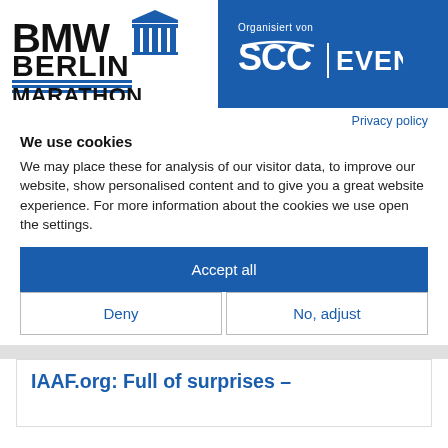[Figure (logo): BMW Berlin Marathon logo with Brandenburg Gate icon on left; SCC Events logo on blue background on right, with 'Organisiert von' text above]
Privacy policy
We use cookies
We may place these for analysis of our visitor data, to improve our website, show personalised content and to give you a great website experience. For more information about the cookies we use open the settings.
Accept all
Deny
No, adjust
IAAF.org: Full of surprises –